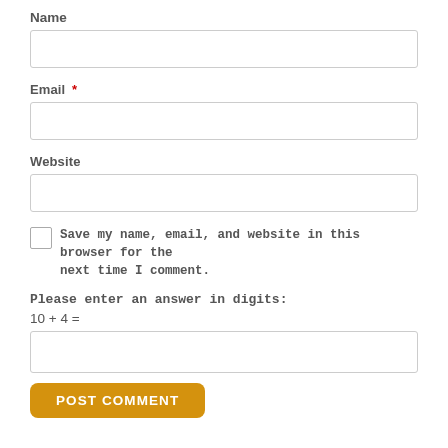Name
[Figure (other): Empty text input field for Name]
Email *
[Figure (other): Empty text input field for Email]
Website
[Figure (other): Empty text input field for Website]
Save my name, email, and website in this browser for the next time I comment.
Please enter an answer in digits:
10 + 4 =
[Figure (other): Empty text input field for math answer]
POST COMMENT